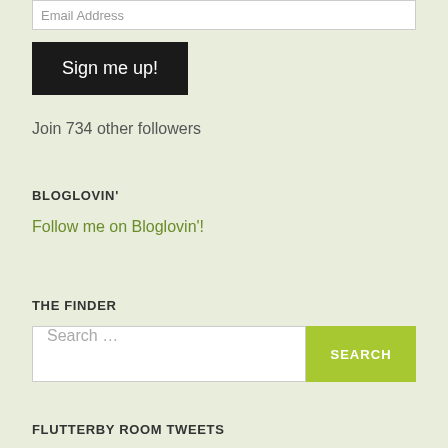Email Address
Sign me up!
Join 734 other followers
BLOGLOVIN'
Follow me on Bloglovin'!
THE FINDER
Search …
SEARCH
FLUTTERBY ROOM TWEETS